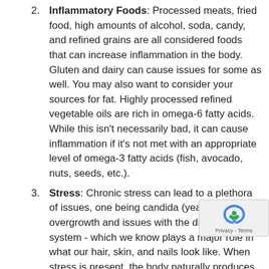Inflammatory Foods: Processed meats, fried food, high amounts of alcohol, soda, candy, and refined grains are all considered foods that can increase inflammation in the body. Gluten and dairy can cause issues for some as well. You may also want to consider your sources for fat. Highly processed refined vegetable oils are rich in omega-6 fatty acids. While this isn't necessarily bad, it can cause inflammation if it's not met with an appropriate level of omega-3 fatty acids (fish, avocado, nuts, seeds, etc.).
Stress: Chronic stress can lead to a plethora of issues, one being candida (yeast) overgrowth and issues with the digestive system - which we know plays a major role in what our hair, skin, and nails look like. When stress is present, the body naturally produces a higher level of cortisol. Cortisol increases sugar in the bloodstream and since candida feeds off of sugar, it can grow at a rapid rate. It can also alter the immune system's ability to respond appropriately.
Medications & Antibiotics: While medications and antibiotics have their place in today's approach to